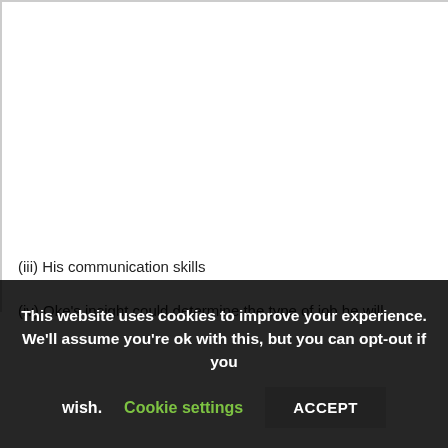(iii) His communication skills
(iv) Oke's insight could determine the type of job he will
This website uses cookies to improve your experience. We'll assume you're ok with this, but you can opt-out if you wish. Cookie settings ACCEPT